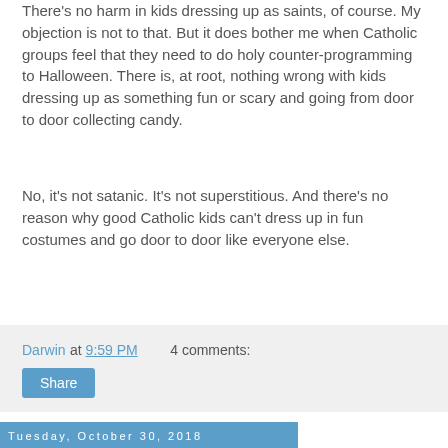There's no harm in kids dressing up as saints, of course. My objection is not to that. But it does bother me when Catholic groups feel that they need to do holy counter-programming to Halloween. There is, at root, nothing wrong with kids dressing up as something fun or scary and going from door to door collecting candy.
No, it's not satanic. It's not superstitious. And there's no reason why good Catholic kids can't dress up in fun costumes and go door to door like everyone else.
Darwin at 9:59 PM    4 comments:
Share
Tuesday, October 30, 2018
More Unengaged Voters Is Not A Good Thing
With mid-term elections looming, every venue seems to be blaring with encouragement to vote. News venues; signs in